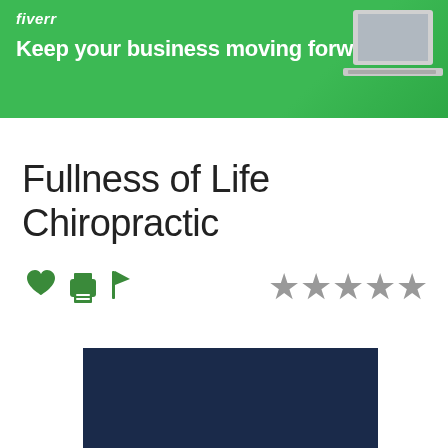[Figure (screenshot): Fiverr banner advertisement with green background, fiverr logo in italic white text, tagline 'Keep your business moving forward', and a partially visible laptop image on the right]
Fullness of Life Chiropractic
[Figure (infographic): Row of icons: green heart, green printer, green flag on left; five grey star rating icons on right]
[Figure (photo): Dark navy blue rectangular image block at the bottom of the page]